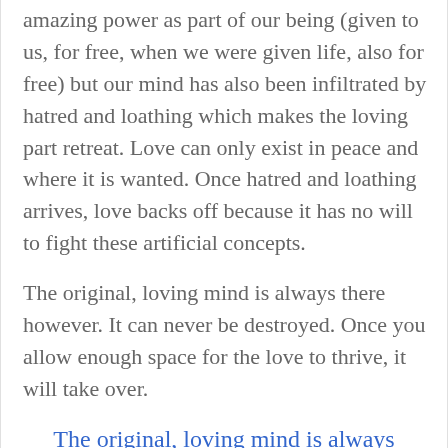amazing power as part of our being (given to us, for free, when we were given life, also for free) but our mind has also been infiltrated by hatred and loathing which makes the loving part retreat. Love can only exist in peace and where it is wanted. Once hatred and loathing arrives, love backs off because it has no will to fight these artificial concepts.
The original, loving mind is always there however. It can never be destroyed. Once you allow enough space for the love to thrive, it will take over.
The original, loving mind is always there however. It can never be destroyed.